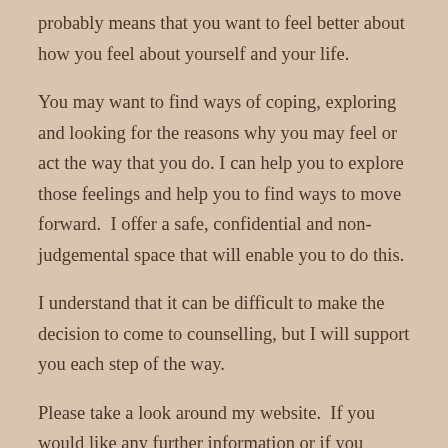probably means that you want to feel better about how you feel about yourself and your life.
You may want to find ways of coping, exploring and looking for the reasons why you may feel or act the way that you do. I can help you to explore those feelings and help you to find ways to move forward.  I offer a safe, confidential and non-judgemental space that will enable you to do this.
I understand that it can be difficult to make the decision to come to counselling, but I will support you each step of the way.
Please take a look around my website.  If you would like any further information or if you would like to book a session, please contact me.  Your enquiry will be treated with sensitivity and discretion.